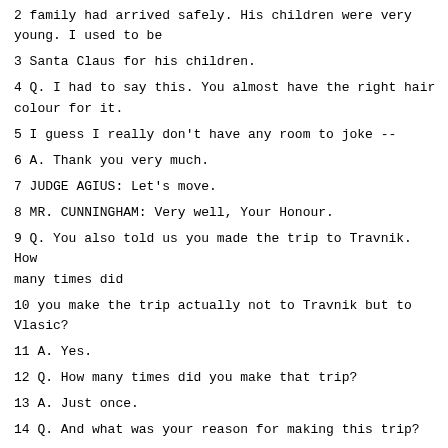2 family had arrived safely. His children were very young. I used to be
3 Santa Claus for his children.
4 Q. I had to say this. You almost have the right hair colour for it.
5 I guess I really don't have any room to joke --
6 A. Thank you very much.
7 JUDGE AGIUS: Let's move.
8 MR. CUNNINGHAM: Very well, Your Honour.
9 Q. You also told us you made the trip to Travnik. How many times did
10 you make the trip actually not to Travnik but to Vlasic?
11 A. Yes.
12 Q. How many times did you make that trip?
13 A. Just once.
14 Q. And what was your reason for making this trip?
15 A. To assure myself personally of what the journey itself looked